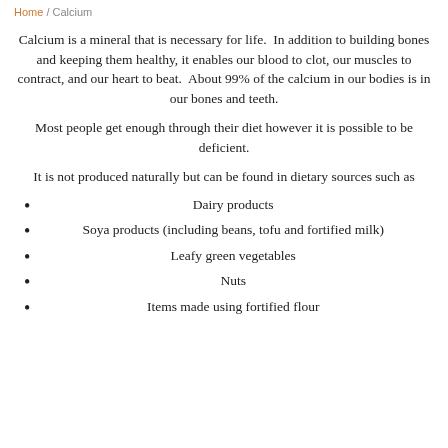Home / Calcium
Calcium is a mineral that is necessary for life. In addition to building bones and keeping them healthy, it enables our blood to clot, our muscles to contract, and our heart to beat. About 99% of the calcium in our bodies is in our bones and teeth.
Most people get enough through their diet however it is possible to be deficient.
It is not produced naturally but can be found in dietary sources such as
Dairy products
Soya products (including beans, tofu and fortified milk)
Leafy green vegetables
Nuts
Items made using fortified flour